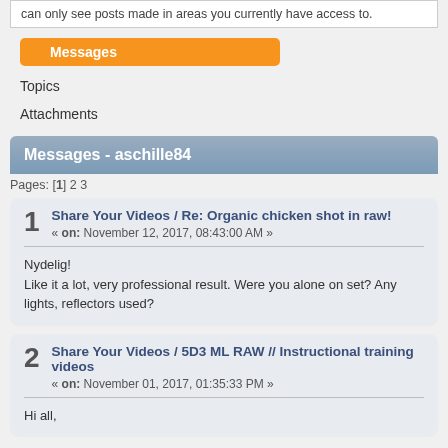can only see posts made in areas you currently have access to.
Messages
Topics
Attachments
Messages - aschille84
Pages: [1] 2 3
1  Share Your Videos / Re: Organic chicken shot in raw!
« on: November 12, 2017, 08:43:00 AM »

Nydelig!
Like it a lot, very professional result. Were you alone on set? Any lights, reflectors used?
2  Share Your Videos / 5D3 ML RAW // Instructional training videos
« on: November 01, 2017, 01:35:33 PM »

Hi all,